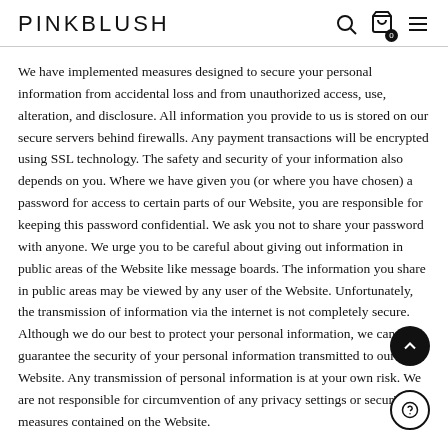PINKBLUSH
We have implemented measures designed to secure your personal information from accidental loss and from unauthorized access, use, alteration, and disclosure. All information you provide to us is stored on our secure servers behind firewalls. Any payment transactions will be encrypted using SSL technology. The safety and security of your information also depends on you. Where we have given you (or where you have chosen) a password for access to certain parts of our Website, you are responsible for keeping this password confidential. We ask you not to share your password with anyone. We urge you to be careful about giving out information in public areas of the Website like message boards. The information you share in public areas may be viewed by any user of the Website. Unfortunately, the transmission of information via the internet is not completely secure. Although we do our best to protect your personal information, we cannot guarantee the security of your personal information transmitted to our Website. Any transmission of personal information is at your own risk. We are not responsible for circumvention of any privacy settings or security measures contained on the Website.